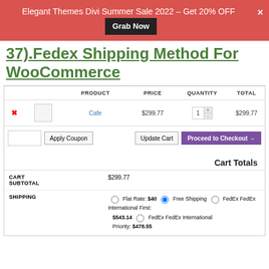Elegant Themes Divi Summer Sale 2022 – Get 20% OFF  Grab Now
37).Fedex Shipping Method For WooCommerce
[Figure (screenshot): WooCommerce cart page screenshot showing a cart table with product 'Cafe' at $299.77, quantity 1, total $299.77, Apply Coupon input, Update Cart button, Proceed to Checkout button, and Cart Totals section showing Cart Subtotal $299.77, Shipping options: Flat Rate $40, Free Shipping (selected), FedEx International First $543.14, FedEx International Priority $478.55]